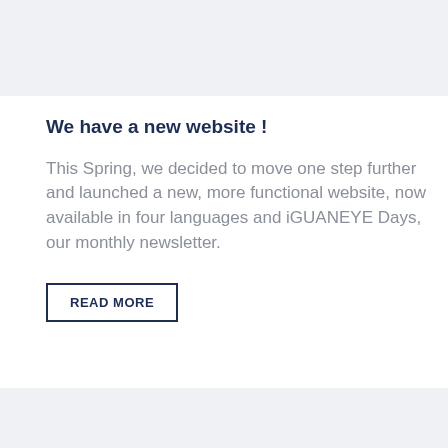[Figure (other): Top gray decorative band]
We have a new website !
This Spring, we decided to move one step further and launched a new, more functional website, now available in four languages and iGUANEYE Days, our monthly newsletter.
READ MORE
[Figure (other): Bottom gray decorative band]